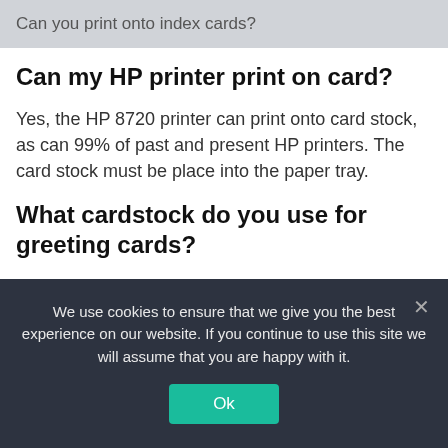Can you print onto index cards?
Can my HP printer print on card?
Yes, the HP 8720 printer can print onto card stock, as can 99% of past and present HP printers. The card stock must be place into the paper tray.
What cardstock do you use for greeting cards?
In terms of greeting card weight, this translates to a heavier cardstock that will need scoring to fold. Standard
We use cookies to ensure that we give you the best experience on our website. If you continue to use this site we will assume that you are happy with it.